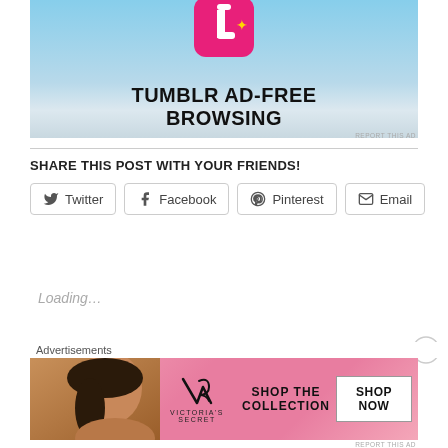[Figure (screenshot): Tumblr Ad-Free Browsing advertisement banner with Tumblr logo on sky blue gradient background]
REPORT THIS AD
SHARE THIS POST WITH YOUR FRIENDS!
Twitter  Facebook  Pinterest  Email
Loading...
Advertisements
[Figure (screenshot): Victoria's Secret advertisement banner with model, logo, and SHOP THE COLLECTION / SHOP NOW button]